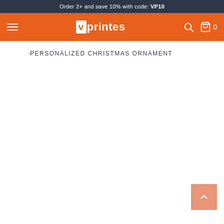Order 2+ and save 10% with code: VP10
[Figure (logo): Vprintes logo with hamburger menu, search icon, and cart icon on orange navigation bar]
PERSONALIZED CHRISTMAS ORNAMENT